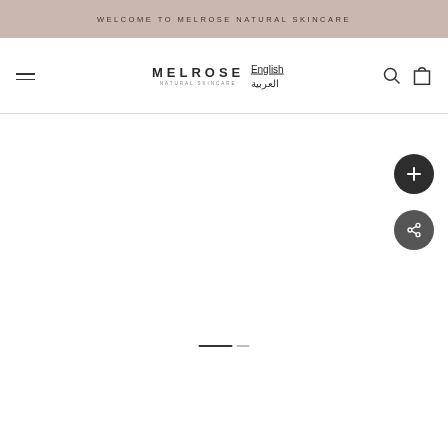WELCOME TO MELROSE NATURAL SKINCARE
[Figure (logo): Melrose Natural Skincare logo with navigation bar including hamburger menu, logo text, language switcher (English/Arabic), search icon, and cart icon]
[Figure (other): Main product image area (empty/white) with floating dark circular plus button and share button on right side, and a slider progress indicator at bottom center]